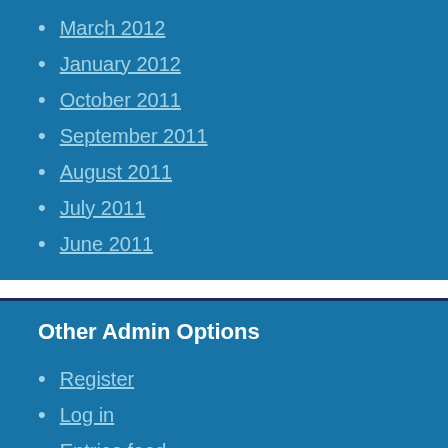March 2012
January 2012
October 2011
September 2011
August 2011
July 2011
June 2011
Other Admin Options
Register
Log in
Entries feed
Comments feed